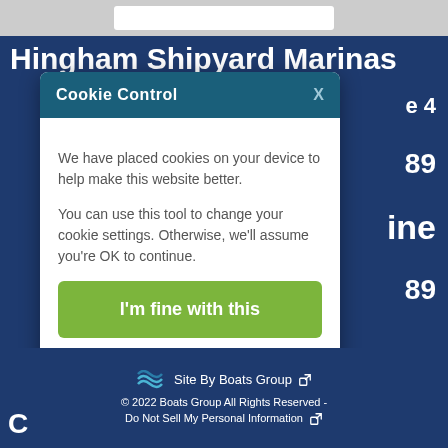[Figure (screenshot): Top grey navigation bar with white search/input box]
Hingham Shipyard Marinas
[Figure (screenshot): Cookie Control modal dialog overlaying the marina website. Header: 'Cookie Control' with X close button. Body text: 'We have placed cookies on your device to help make this website better. You can use this tool to change your cookie settings. Otherwise, we'll assume you're OK to continue.' Green button: 'I'm fine with this'. Footer links: 'Information and Settings', 'About our cookies' with external link icon.]
Site By Boats Group
© 2022 Boats Group All Rights Reserved - Do Not Sell My Personal Information